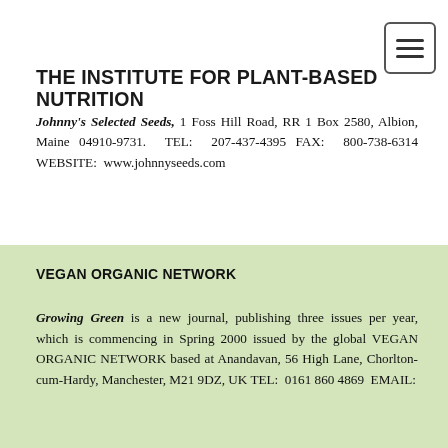THE INSTITUTE FOR PLANT-BASED NUTRITION
Johnny's Selected Seeds, 1 Foss Hill Road, RR 1 Box 2580, Albion, Maine 04910-9731. TEL: 207-437-4395 FAX: 800-738-6314 WEBSITE: www.johnnyseeds.com
VEGAN ORGANIC NETWORK
Growing Green is a new journal, publishing three issues per year, which is commencing in Spring 2000 issued by the global VEGAN ORGANIC NETWORK based at Anandavan, 56 High Lane, Chorlton-cum-Hardy, Manchester, M21 9DZ, UK TEL: 0161 860 4869 EMAIL: